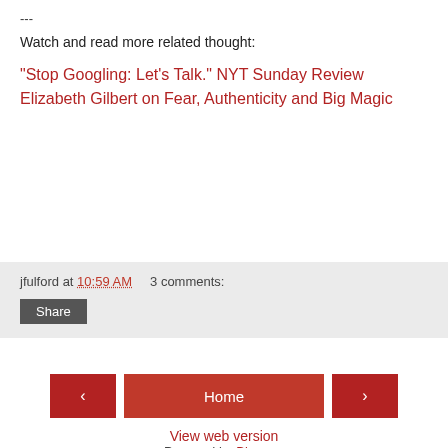---
Watch and read more related thought:
"Stop Googling: Let's Talk." NYT Sunday Review
Elizabeth Gilbert on Fear, Authenticity and Big Magic
jfulford at 10:59 AM    3 comments:
Share
‹
Home
›
View web version
Powered by Blogger.